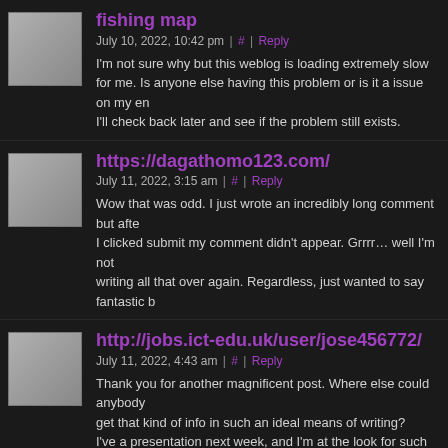fishing map — July 10, 2022, 10:42 pm | # | Reply — I'm not sure why but this weblog is loading extremely slow for me. Is anyone else having this problem or is it a issue on my end? I'll check back later and see if the problem still exists.
https://dagathomo123.com/ — July 11, 2022, 3:15 am | # | Reply — Wow that was odd. I just wrote an incredibly long comment but after I clicked submit my comment didn't appear. Grrrr… well I'm not writing all that over again. Regardless, just wanted to say fantastic b
http://jobs.ict-edu.uk/user/jose456772/ — July 11, 2022, 4:43 am | # | Reply — Thank you for another magnificent post. Where else could anybody get that kind of info in such an ideal means of writing? I've a presentation next week, and I'm at the look for such info.
Browse around this site — July 11, 2022, 12:33 pm | # | Reply — If soomebody matches all the numbers Wednesday, it will be the big win in Powerball history.